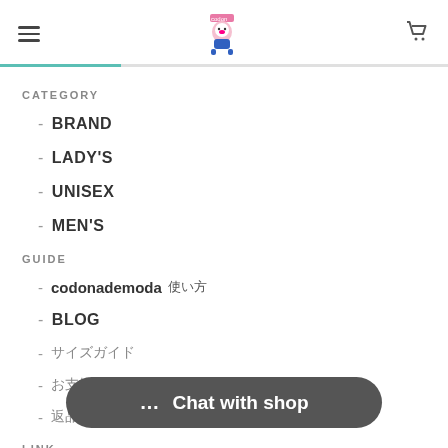Navigation header with hamburger menu, logo, and cart icon
CATEGORY
- BRAND
- LADY'S
- UNISEX
- MEN'S
GUIDE
- codonademoda使い方
- BLOG
- サイズガイド
- お支払い・配送について
- 返品・交換について
LINK
- Instagram